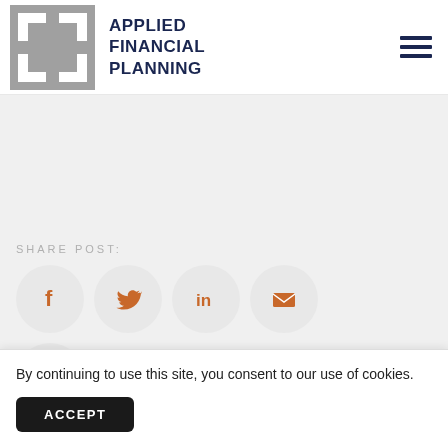[Figure (logo): Applied Financial Planning logo with gray interlocking squares icon and dark navy text reading APPLIED FINANCIAL PLANNING]
[Figure (infographic): Hamburger menu icon (three horizontal dark navy lines)]
SHARE POST:
[Figure (infographic): Four social share icon circles: Facebook (f), Twitter (bird), LinkedIn (in), Email (envelope) — all in orange on light gray circles]
[Figure (infographic): Print icon circle in orange on light gray circle]
By continuing to use this site, you consent to our use of cookies.
ACCEPT